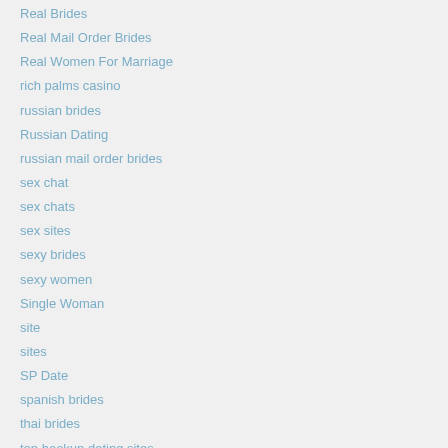Real Brides
Real Mail Order Brides
Real Women For Marriage
rich palms casino
russian brides
Russian Dating
russian mail order brides
sex chat
sex chats
sex sites
sexy brides
sexy women
Single Woman
site
sites
SP Date
spanish brides
thai brides
top hookup dating sites
Top Hookup Sites